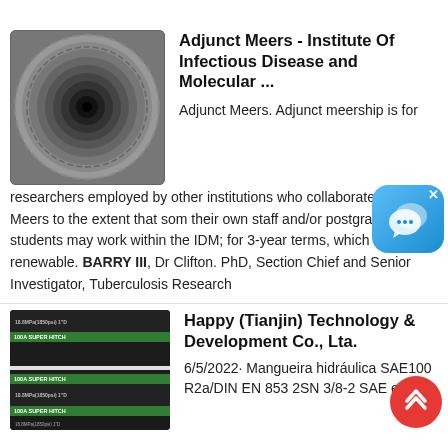[Figure (photo): End-on view of a black rubber hose]
Adjunct Meers - Institute Of Infectious Disease and Molecular ...
Adjunct Meers. Adjunct meership is for researchers employed by other institutions who collaborate with IDM Meers to the extent that some of their own staff and/or postgraduate students may work within the IDM; for 3-year terms, which are renewable. BARRY III, Dr Clifton. PhD, Section Chief and Senior Investigator, Tuberculosis Research
[Figure (photo): Black hydraulic hoses with green stripe labels reading 100A SUPER HITCH]
Happy (Tianjin) Technology & Development Co., Lta.
6/5/2022· Mangueira hidráulica SAE100 R2a/DIN EN 853 2SN 3/8-2 SAE em